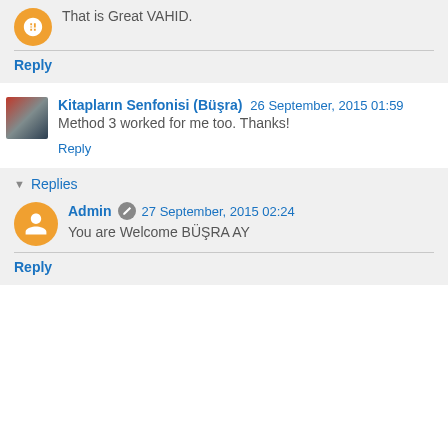That is Great VAHID.
Reply
Kitapların Senfonisi (Büşra) 26 September, 2015 01:59
Method 3 worked for me too. Thanks!
Reply
Replies
Admin 27 September, 2015 02:24
You are Welcome BÜŞRA AY
Reply